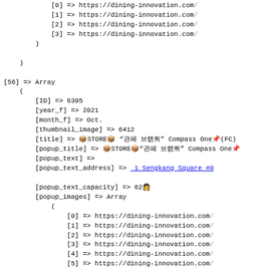Code dump showing PHP array output with URL entries and array data for item [56] including ID 6395, year_f 2021, month_f Oct., thumbnail_image 6412, title, popup fields, and popup_images array with URLs from dining-innovation.com